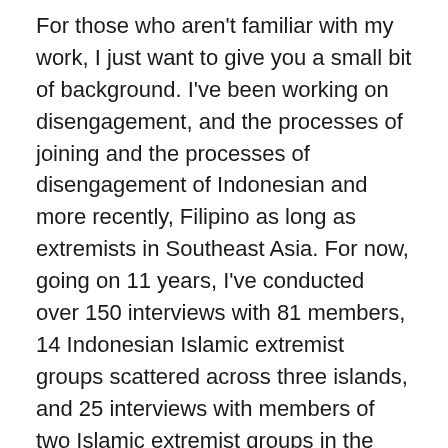For those who aren't familiar with my work, I just want to give you a small bit of background. I've been working on disengagement, and the processes of joining and the processes of disengagement of Indonesian and more recently, Filipino as long as extremists in Southeast Asia. For now, going on 11 years, I've conducted over 150 interviews with 81 members, 14 Indonesian Islamic extremist groups scattered across three islands, and 25 interviews with members of two Islamic extremist groups in the Philippines. Now to do that, I worked through a network of guides and fixers and as often as possible, and I've worked with them for a very long time, some of them are they run terrorist rehabilitation, NGOs, some are academics, at one point it was a journalist, human rights activists and I've long standing relationships with all of them. And as often as possible, I conducted repeat interviews two, three up to five times over